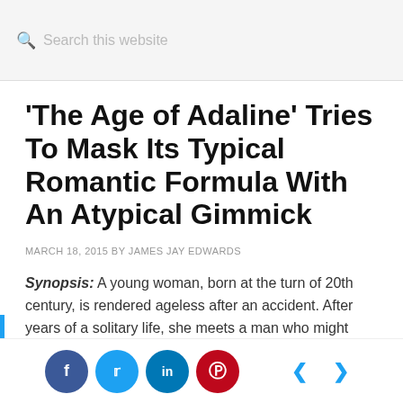Search this website
'The Age of Adaline' Tries To Mask Its Typical Romantic Formula With An Atypical Gimmick
MARCH 18, 2015 BY JAMES JAY EDWARDS
Synopsis: A young woman, born at the turn of 20th century, is rendered ageless after an accident. After years of a solitary life, she meets a man who might
f t in p < >